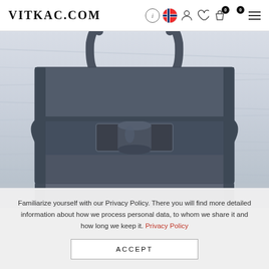VITKAC.COM
[Figure (photo): Close-up photo of a dark grey leather handbag with a large rectangular buckle closure and two top handles, photographed against a light blue-grey marble/stone surface.]
Familiarize yourself with our Privacy Policy. There you will find more detailed information about how we process personal data, to whom we share it and how long we keep it. Privacy Policy
ACCEPT